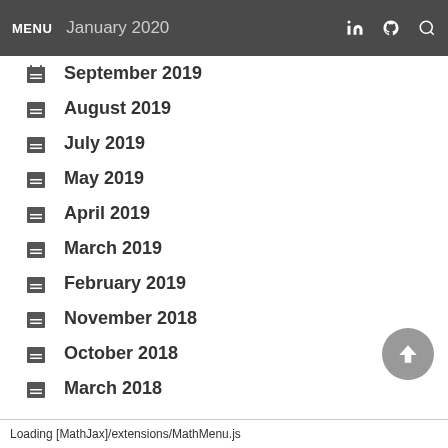MENU  January 2020
September 2019
August 2019
July 2019
May 2019
April 2019
March 2019
February 2019
November 2018
October 2018
March 2018
Loading [MathJax]/extensions/MathMenu.js